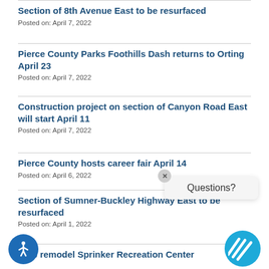Section of 8th Avenue East to be resurfaced
Posted on: April 7, 2022
Pierce County Parks Foothills Dash returns to Orting April 23
Posted on: April 7, 2022
Construction project on section of Canyon Road East will start April 11
Posted on: April 7, 2022
Pierce County hosts career fair April 14
Posted on: April 6, 2022
Section of Sumner-Buckley Highway East to be resurfaced
Posted on: April 1, 2022
Help remodel Sprinker Recreation Center